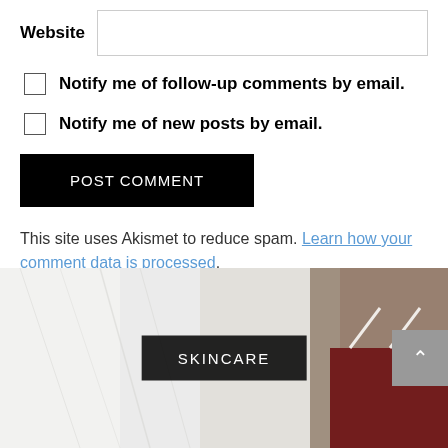Website
Notify me of follow-up comments by email.
Notify me of new posts by email.
POST COMMENT
This site uses Akismet to reduce spam. Learn how your comment data is processed.
[Figure (photo): Skincare product image with fabric/towel background and dark red box. SKINCARE label overlay on black background with scroll-to-top button.]